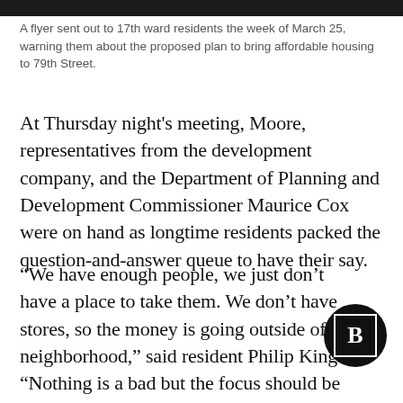[Figure (photo): Dark image strip at the top of the page]
A flyer sent out to 17th ward residents the week of March 25, warning them about the proposed plan to bring affordable housing to 79th Street.
At Thursday night's meeting, Moore, representatives from the development company, and the Department of Planning and Development Commissioner Maurice Cox were on hand as longtime residents packed the question-and-answer queue to have their say.
“We have enough people, we just don’t have a place to take them. We don’t have stores, so the money is going outside of the neighborhood,” said resident Philip King. “Nothing is a bad but the focus should be on how we keep pe… in the community.”